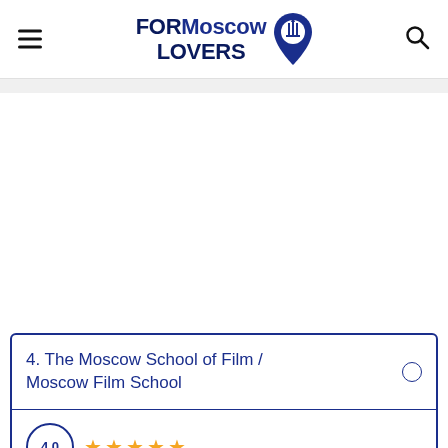FOR Moscow LOVERS
4. The Moscow School of Film / Moscow Film School
[Figure (other): Star rating showing approximately 4 out of 5 stars in orange/gold color, with a circular rating badge on the left showing a number (partially visible).]